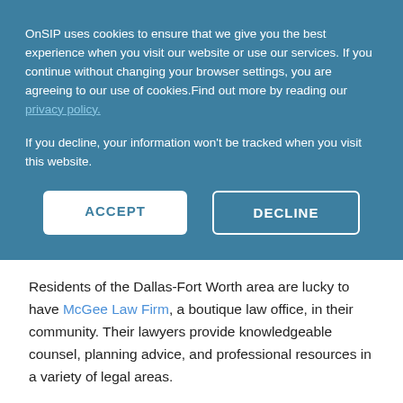OnSIP uses cookies to ensure that we give you the best experience when you visit our website or use our services. If you continue without changing your browser settings, you are agreeing to our use of cookies.Find out more by reading our privacy policy.
If you decline, your information won't be tracked when you visit this website.
ACCEPT
DECLINE
Residents of the Dallas-Fort Worth area are lucky to have McGee Law Firm, a boutique law office, in their community. Their lawyers provide knowledgeable counsel, planning advice, and professional resources in a variety of legal areas.
Administrator Terrie O'Donnell was tasked with finding a new phone system for McGee Law Firm, as their previous system was problem-filled and